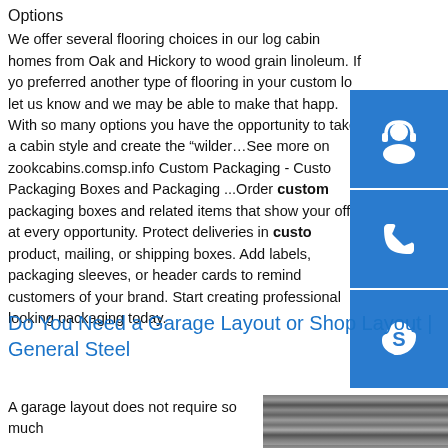Options
We offer several flooring choices in our log cabin homes from Oak and Hickory to wood grain linoleum. If yo preferred another type of flooring in your custom lo let us know and we may be able to make that happ. With so many options you have the opportunity to take a cabin style and create the “wilder…See more on zookcabins.comsp.info Custom Packaging - Custo Packaging Boxes and Packaging ...Order custom packaging boxes and related items that show your off at every opportunity. Protect deliveries in custo product, mailing, or shipping boxes. Add labels, packaging sleeves, or header cards to remind customers of your brand. Start creating professional looking packaging today.
[Figure (illustration): Three blue square buttons stacked vertically on the right side: headset/support icon, phone icon, Skype icon]
Do You Need a Garage Layout or Shop Layout | General Steel
A garage layout does not require so much
[Figure (photo): Interior photo of a large steel building/garage with bright overhead lighting reflected on the floor, viewed from inside]